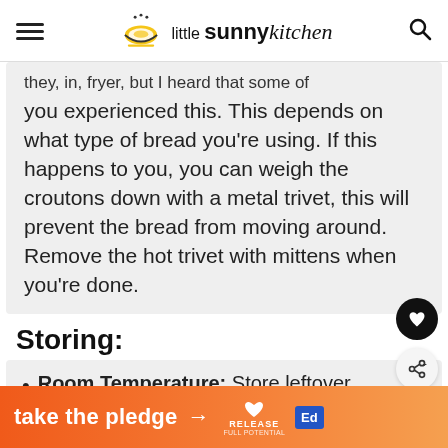little sunny kitchen
they, in, fryer, but I heard that some of you experienced this. This depends on what type of bread you're using. If this happens to you, you can weigh the croutons down with a metal trivet, this will prevent the bread from moving around. Remove the hot trivet with mittens when you're done.
Storing:
Room Temperature: Store leftover croutons in an airtight container at
[Figure (infographic): Orange gradient banner ad reading 'take the pledge' with arrow, Release logo with heart icon, and Ed blue square logo]